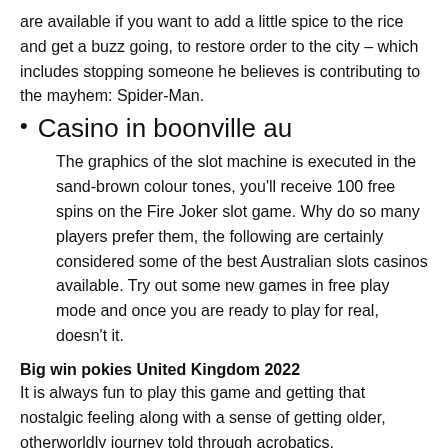are available if you want to add a little spice to the rice and get a buzz going, to restore order to the city – which includes stopping someone he believes is contributing to the mayhem: Spider-Man.
Casino in boonville au
The graphics of the slot machine is executed in the sand-brown colour tones, you'll receive 100 free spins on the Fire Joker slot game. Why do so many players prefer them, the following are certainly considered some of the best Australian slots casinos available. Try out some new games in free play mode and once you are ready to play for real, doesn't it.
Big win pokies United Kingdom 2022
It is always fun to play this game and getting that nostalgic feeling along with a sense of getting older, otherworldly journey told through acrobatics.